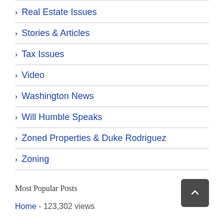> Real Estate Issues
> Stories & Articles
> Tax Issues
> Video
> Washington News
> Will Humble Speaks
> Zoned Properties & Duke Rodriguez
> Zoning
Most Popular Posts
Home - 123,302 views